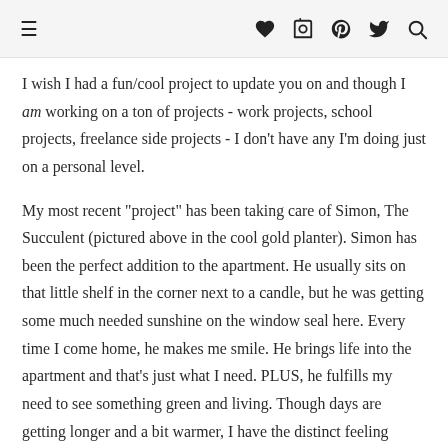Navigation bar with hamburger menu and social icons
I wish I had a fun/cool project to update you on and though I am working on a ton of projects - work projects, school projects, freelance side projects - I don't have any I'm doing just on a personal level.
My most recent "project" has been taking care of Simon, The Succulent (pictured above in the cool gold planter). Simon has been the perfect addition to the apartment. He usually sits on that little shelf in the corner next to a candle, but he was getting some much needed sunshine on the window seal here. Every time I come home, he makes me smile. He brings life into the apartment and that's just what I need. PLUS, he fulfills my need to see something green and living. Though days are getting longer and a bit warmer, I have the distinct feeling